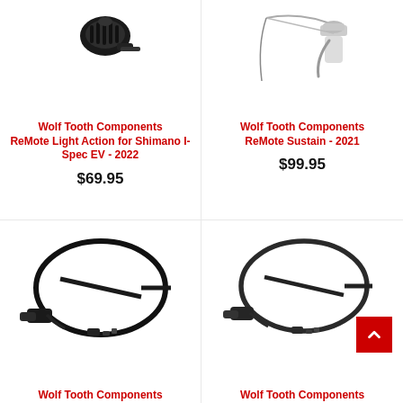[Figure (photo): Wolf Tooth Components ReMote Light Action for Shimano I-Spec EV black lever product photo]
Wolf Tooth Components ReMote Light Action for Shimano I-Spec EV - 2022
$69.95
[Figure (photo): Wolf Tooth Components ReMote Sustain 2021 product photo with cable]
Wolf Tooth Components ReMote Sustain - 2021
$99.95
[Figure (photo): Wolf Tooth Components cable dropper remote product photo with oval cable loop]
Wolf Tooth Components
[Figure (photo): Wolf Tooth Components cable dropper remote product photo with oval cable loop variant]
Wolf Tooth Components